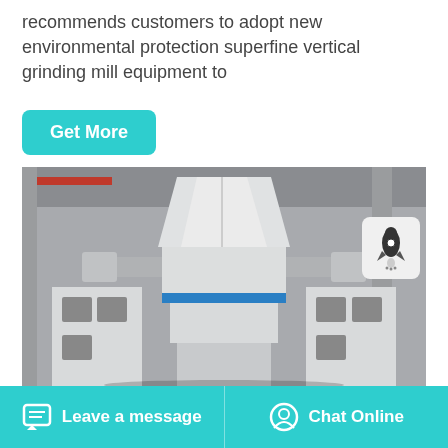recommends customers to adopt new environmental protection superfine vertical grinding mill equipment to
Get More
[Figure (photo): Industrial vertical grinding mill machine in a factory setting, white/grey colored large equipment with blue accent stripe]
Leave a message
Chat Online